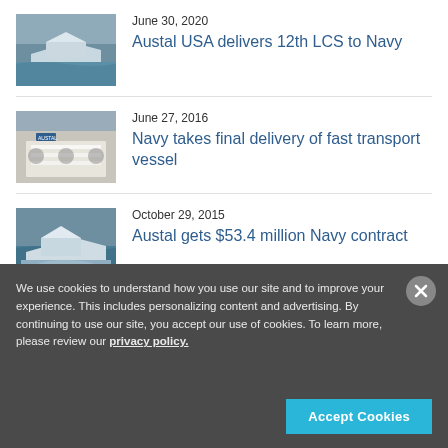[Figure (photo): Aerial view of a naval vessel (LCS) on water]
June 30, 2020
Austal USA delivers 12th LCS to Navy
[Figure (photo): People seated at a table at a signing ceremony with Austal logo visible]
June 27, 2016
Navy takes final delivery of fast transport vessel
[Figure (photo): Aerial view of a fast transport vessel on water]
October 29, 2015
Austal gets $53.4 million Navy contract
We use cookies to understand how you use our site and to improve your experience. This includes personalizing content and advertising. By continuing to use our site, you accept our use of cookies. To learn more, please review our privacy policy.